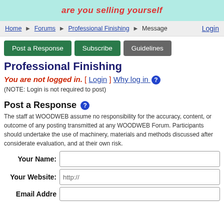[Figure (illustration): Light teal/cyan banner with red italic bold text: 'are you selling yourself']
Home > Forums > Professional Finishing > Message   Login
Post a Response   Subscribe   Guidelines
Professional Finishing
You are not logged in. [ Login ] Why log in ?
(NOTE: Login is not required to post)
Post a Response
The staff at WOODWEB assume no responsibility for the accuracy, content, or outcome of any posting transmitted at any WOODWEB Forum. Participants should undertake the use of machinery, materials and methods discussed after considerate evaluation, and at their own risk.
Your Name:
Your Website:  http://
Email Address: